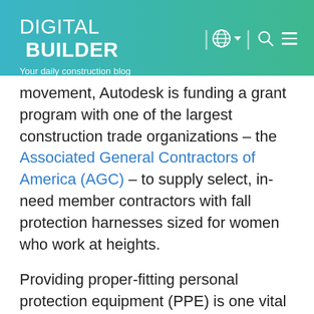DIGITAL BUILDER — Your daily construction blog
movement, Autodesk is funding a grant program with one of the largest construction trade organizations – the Associated General Contractors of America (AGC) – to supply select, in-need member contractors with fall protection harnesses sized for women who work at heights.
Providing proper-fitting personal protection equipment (PPE) is one vital step towards safer, more